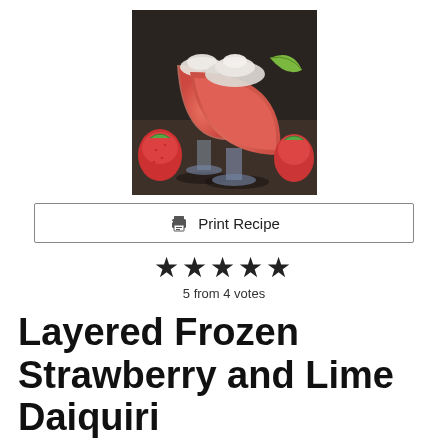[Figure (photo): Two frozen strawberry daiquiri drinks in glass goblets, garnished with whipped cream and lime wedge, surrounded by fresh strawberries on a dark surface.]
Print Recipe
★★★★★
5 from 4 votes
Layered Frozen Strawberry and Lime Daiquiri